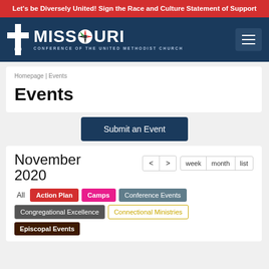Let's be Diversely United! Sign the Race and Culture Statement of Support
[Figure (logo): Missouri Conference of the United Methodist Church logo with cross and compass rose icon on navy background]
Homepage | Events
Events
Submit an Event
November 2020
All
Action Plan
Camps
Conference Events
Congregational Excellence
Connectional Ministries
Episcopal Events